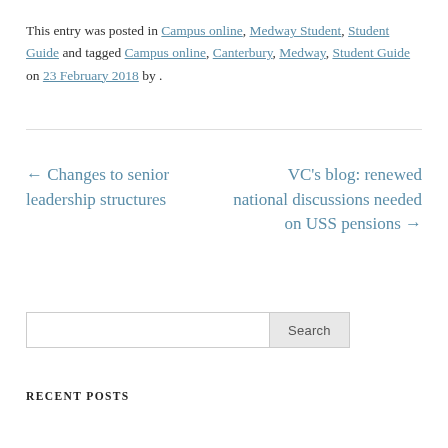This entry was posted in Campus online, Medway Student, Student Guide and tagged Campus online, Canterbury, Medway, Student Guide on 23 February 2018 by .
← Changes to senior leadership structures
VC's blog: renewed national discussions needed on USS pensions →
Search
RECENT POSTS